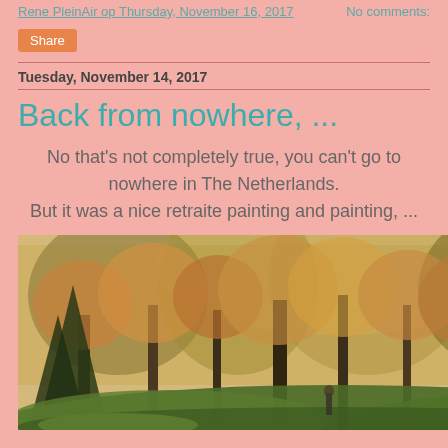Rene PleinAir op Thursday, November 16, 2017   No comments:
Share
Tuesday, November 14, 2017
Back from nowhere, ...
No that's not completely true, you can't go to nowhere in The Netherlands.
But it was a nice retraite painting and painting, ...
[Figure (photo): A plein air oil painting of a forest with autumn trees, warm golden light filtering through the canopy, green undergrowth on the forest floor.]